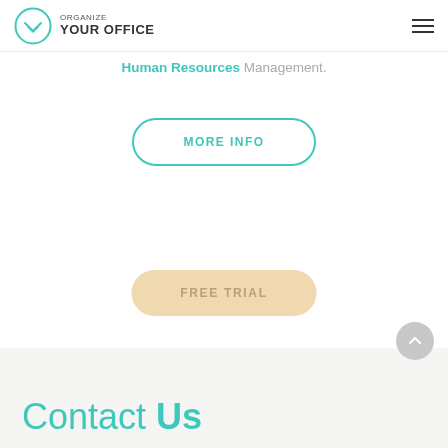Organize Your Office
management of Care and Discount those Remote... Document Financial Management and Human Resources Management.
MORE INFO
FREE TRIAL
Contact Us